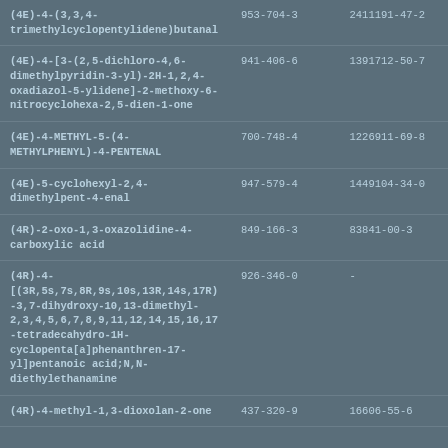| (4E)-4-(3,3,4-trimethylcyclopentylidene)butanal | 953-704-3 | 2411191-47-2 |
| (4E)-4-[3-(2,5-dichloro-4,6-dimethylpyridin-3-yl)-2H-1,2,4-oxadiazol-5-ylidene]-2-methoxy-6-nitrocyclohexa-2,5-dien-1-one | 941-406-6 | 1391712-50-7 |
| (4E)-4-METHYL-5-(4-METHYLPHENYL)-4-PENTENAL | 700-748-4 | 1226911-69-8 |
| (4E)-5-cyclohexyl-2,4-dimethylpent-4-enal | 947-579-4 | 1449104-34-0 |
| (4R)-2-oxo-1,3-oxazolidine-4-carboxylic acid | 849-166-3 | 83841-00-3 |
| (4R)-4-[(3R,5s,7s,8R,9s,10s,13R,14s,17R)-3,7-dihydroxy-10,13-dimethyl-2,3,4,5,6,7,8,9,11,12,14,15,16,17-tetradecahydro-1H-cyclopenta[a]phenanthren-17-yl]pentanoic acid;N,N-diethylethanamine | 926-346-0 | - |
| (4R)-4-methyl-1,3-dioxolan-2-one | 437-320-9 | 16606-55-6 |